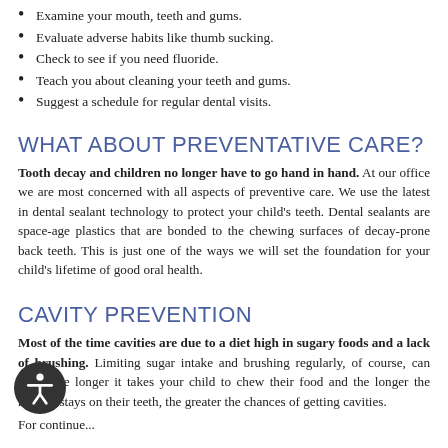Examine your mouth, teeth and gums.
Evaluate adverse habits like thumb sucking.
Check to see if you need fluoride.
Teach you about cleaning your teeth and gums.
Suggest a schedule for regular dental visits.
WHAT ABOUT PREVENTATIVE CARE?
Tooth decay and children no longer have to go hand in hand. At our office we are most concerned with all aspects of preventive care. We use the latest in dental sealant technology to protect your child's teeth. Dental sealants are space-age plastics that are bonded to the chewing surfaces of decay-prone back teeth. This is just one of the ways we will set the foundation for your child's lifetime of good oral health.
CAVITY PREVENTION
Most of the time cavities are due to a diet high in sugary foods and a lack of brushing. Limiting sugar intake and brushing regularly, of course, can help. The longer it takes your child to chew their food and the longer the residue stays on their teeth, the greater the chances of getting cavities.
For continued on...